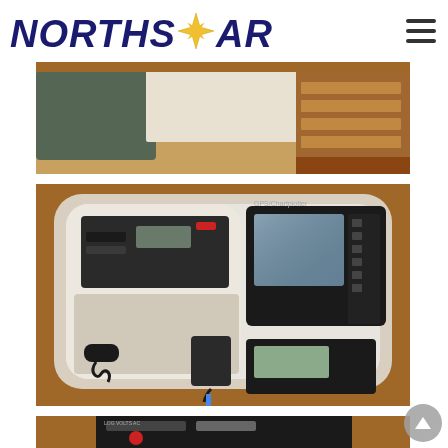[Figure (logo): Northstar logo with compass star between 'NORTHS' and 'AR' in dark blue italic bold text, with a gold/yellow star icon in the middle]
[Figure (photo): Interior of a boat cabin showing wooden trim and green seating/cushions]
[Figure (photo): Boat navigation electronics panel in a white cabinet with rounded corners, showing VHF radio, GPS chartplotter, microphone, and various marine electronics mounted on a white panel with wooden surround]
[Figure (photo): Partial view of a boat electrical panel with black background and gauges/switches visible at bottom of page]